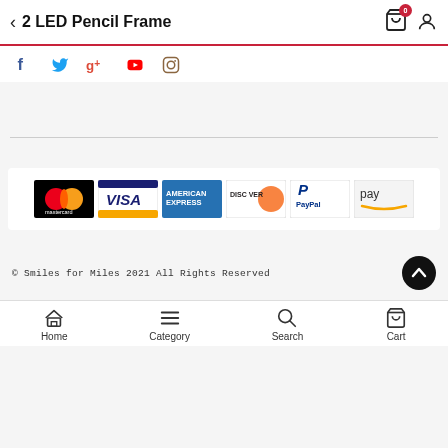2 LED Pencil Frame
[Figure (logo): Social media icons: Facebook, Twitter, Google+, YouTube, Instagram]
[Figure (logo): Payment method logos: Mastercard, Visa, American Express, Discover, PayPal, Amazon Pay]
© Smiles for Miles 2021 All Rights Reserved
Home  Category  Search  Cart